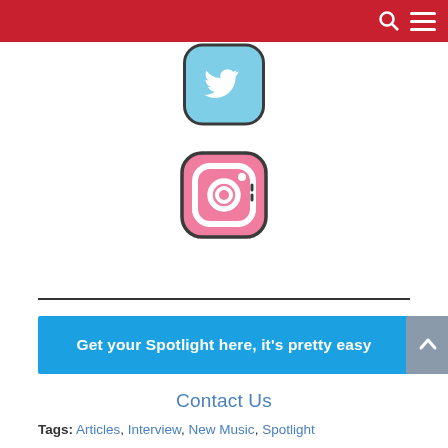[Figure (logo): Twitter app icon — rounded square with light blue background and white bird logo]
[Figure (logo): Instagram app icon — rounded square with pink/gradient background and white camera outline logo]
Get your Spotlight here, it's pretty easy
Contact Us
Tags: Articles, Interview, New Music, Spotlight